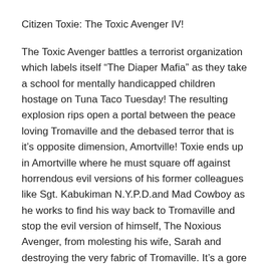Citizen Toxie: The Toxic Avenger IV!
The Toxic Avenger battles a terrorist organization which labels itself “The Diaper Mafia” as they take a school for mentally handicapped children hostage on Tuna Taco Tuesday! The resulting explosion rips open a portal between the peace loving Tromaville and the debased terror that is it’s opposite dimension, Amortville! Toxie ends up in Amortville where he must square off against horrendous evil versions of his former colleagues like Sgt. Kabukiman N.Y.P.D.and Mad Cowboy as he works to find his way back to Tromaville and stop the evil version of himself, The Noxious Avenger, from molesting his wife, Sarah and destroying the very fabric of Tromaville. It’s a gore drenched battle to the death as Toxie and Noxie must battle to the bitter end!